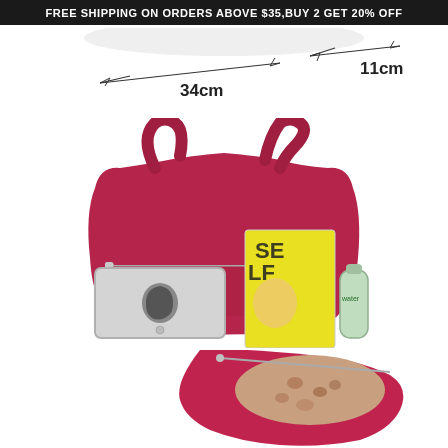FREE SHIPPING ON ORDERS ABOVE $35,BUY 2 GET 20% OFF
[Figure (photo): Top-down dimension diagram of a bag showing width 34cm and depth 11cm with arrow lines]
[Figure (photo): Red nylon hobo shoulder bag displayed next to an iPad tablet, a fashion magazine, and a water bottle to show size capacity]
[Figure (photo): Interior view of the red bag opened from the top showing floral patterned lining inside]